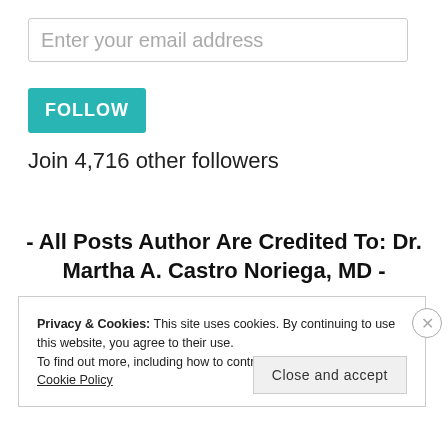Enter your email address
FOLLOW
Join 4,716 other followers
- All Posts Author Are Credited To: Dr. Martha A. Castro Noriega, MD -
Privacy & Cookies: This site uses cookies. By continuing to use this website, you agree to their use.
To find out more, including how to control cookies, see here: Cookie Policy
Close and accept